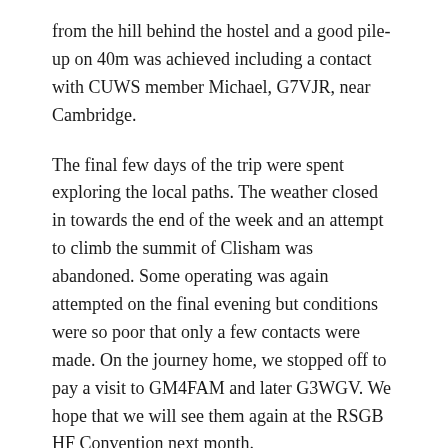from the hill behind the hostel and a good pile-up on 40m was achieved including a contact with CUWS member Michael, G7VJR, near Cambridge.
The final few days of the trip were spent exploring the local paths. The weather closed in towards the end of the week and an attempt to climb the summit of Clisham was abandoned. Some operating was again attempted on the final evening but conditions were so poor that only a few contacts were made. On the journey home, we stopped off to pay a visit to GM4FAM and later G3WGV. We hope that we will see them again at the RSGB HF Convention next month.
Overall, some 150 contacts were made from different islands in the EU-010 group of which around 30 were on CW and the rest on SSB.
If there is sufficient interest there will be a return trip to the Hebrides planned next summer – probably to the Shiant